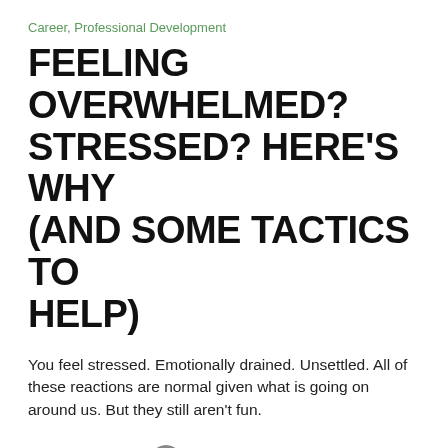Career, Professional Development
FEELING OVERWHELMED? STRESSED? HERE'S WHY (AND SOME TACTICS TO HELP)
You feel stressed. Emotionally drained. Unsettled. All of these reactions are normal given what is going on around us. But they still aren't fun.
August 26, 2020   Paul White
Leave a comment